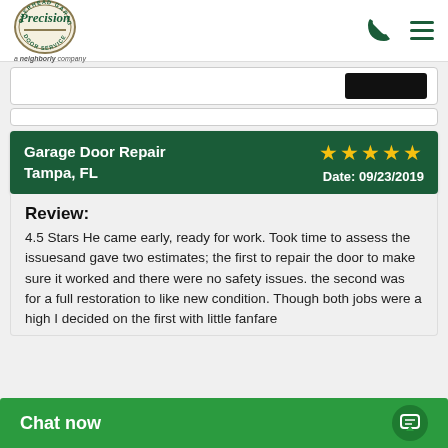[Figure (logo): Precision Door Service logo - circular emblem with overhead garage text]
a neighborly company
Garage Door Repair Tampa, FL
★★★★★ Date: 09/23/2019
Review:
4.5 Stars He came early, ready for work. Took time to assess the issuesand gave two estimates; the first to repair the door to make sure it worked and there were no safety issues. the second was for a full restoration to like new condition. Though both jobs were a high I decided on the first with little fanfare...
Chat now